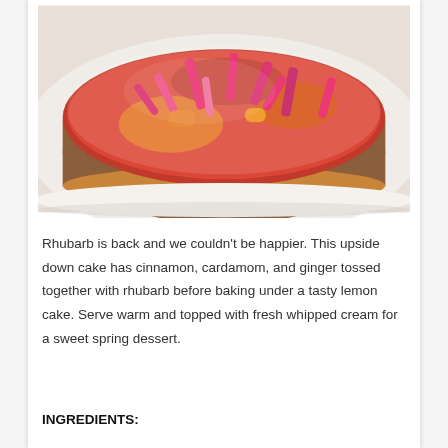[Figure (photo): Close-up photo of a rhubarb upside-down cake on a white plate, showing caramelized rhubarb pieces on top with a golden-brown cake base.]
Rhubarb is back and we couldn’t be happier. This upside down cake has cinnamon, cardamom, and ginger tossed together with rhubarb before baking under a tasty lemon cake. Serve warm and topped with fresh whipped cream for a sweet spring dessert.
INGREDIENTS: